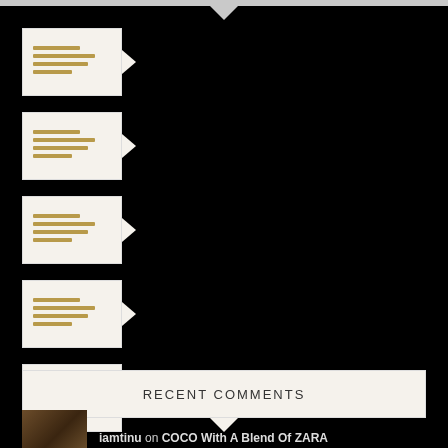[list item with lines]
[list item with lines]
[list item with lines]
[list item with lines]
[list item with lines]
RECENT COMMENTS
iamtinu on COCO With A Blend Of ZARA